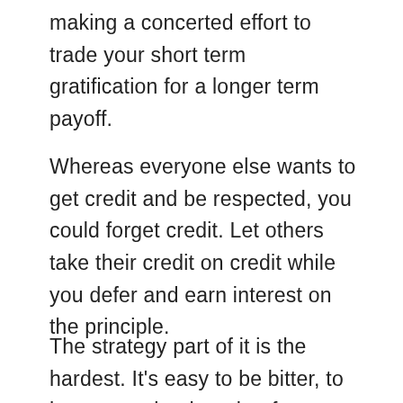making a concerted effort to trade your short term gratification for a longer term payoff.
Whereas everyone else wants to get credit and be respected, you could forget credit. Let others take their credit on credit while you defer and earn interest on the principle.
The strategy part of it is the hardest. It's easy to be bitter, to hate even the thought of subservience, to despise those who have more means, more experience,